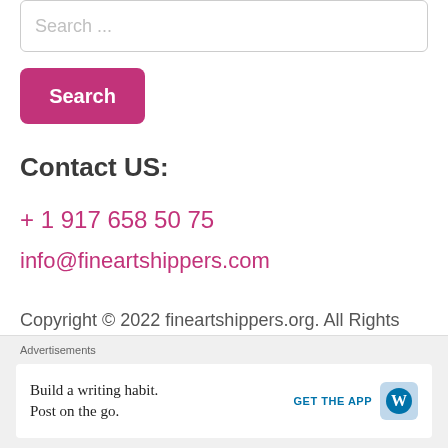Search ...
Search
Contact US:
+ 1 917 658 50 75
info@fineartshippers.com
Copyright © 2022 fineartshippers.org. All Rights Reserved.
Advertisements
Build a writing habit. Post on the go.
GET THE APP